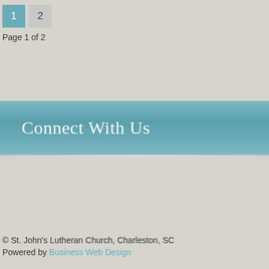1  2  Page 1 of 2
Connect With Us
© St. John's Lutheran Church, Charleston, SC
Powered by Business Web Design